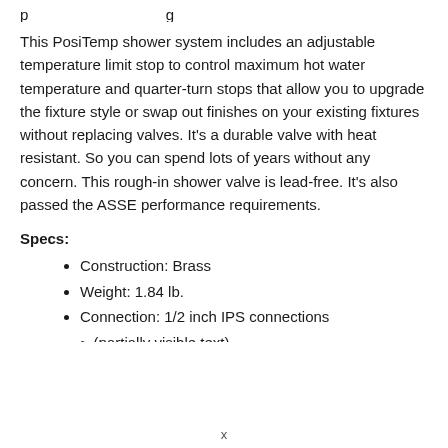This PosiTemp shower system includes an adjustable temperature limit stop to control maximum hot water temperature and quarter-turn stops that allow you to upgrade the fixture style or swap out finishes on your existing fixtures without replacing valves. It's a durable valve with heat resistant. So you can spend lots of years without any concern. This rough-in shower valve is lead-free. It's also passed the ASSE performance requirements.
Specs:
Construction: Brass
Weight: 1.84 lb.
Connection: 1/2 inch IPS connections
(partial, clipped)